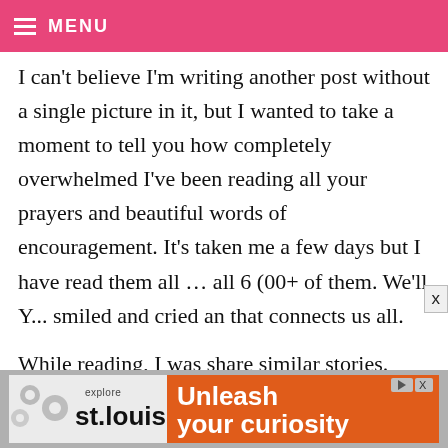MENU
I can't believe I'm writing another post without a single picture in it, but I wanted to take a moment to tell you how completely overwhelmed I've been reading all your prayers and beautiful words of encouragement. It's taken me a few days but I have read them all … all 6 (00+ of them. We'll Y... smiled and cried an that connects us all.

While reading, I was share similar stories. And even more overwhelmed by offers to be tested to see if you could be a kidn
[Figure (screenshot): Advertisement banner for 'explore st.louis - Unleash your curiosity' with gear icons and orange background on right side]